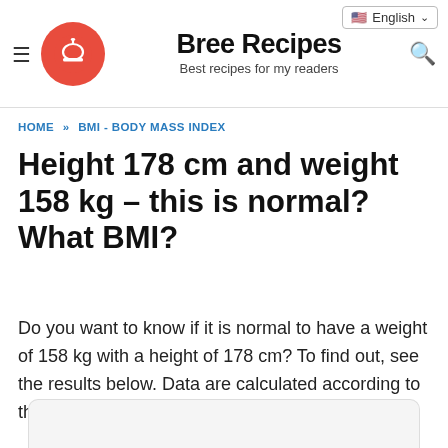Bree Recipes – Best recipes for my readers
HOME » BMI - BODY MASS INDEX
Height 178 cm and weight 158 kg – this is normal? What BMI?
Do you want to know if it is normal to have a weight of 158 kg with a height of 178 cm? To find out, see the results below. Data are calculated according to the body mass index formula.